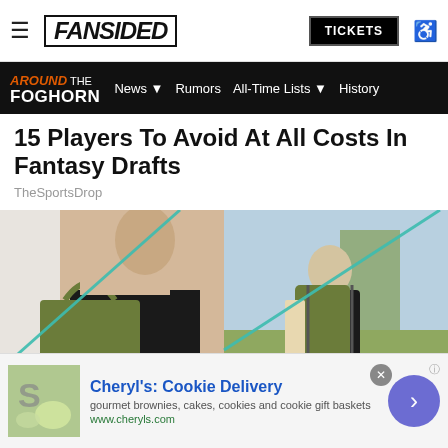FanSided | TICKETS
AROUND THE FOGHORN | News | Rumors | All-Time Lists | History
15 Players To Avoid At All Costs In Fantasy Drafts
TheSportsDrop
[Figure (photo): Advertisement image showing two people with bags — one woman with a green tote bag and one person outdoors with a green backpack]
[Figure (other): Advertisement banner for Cheryl's Cookie Delivery: gourmet brownies, cakes, cookies and cookie gift baskets. www.cheryls.com]